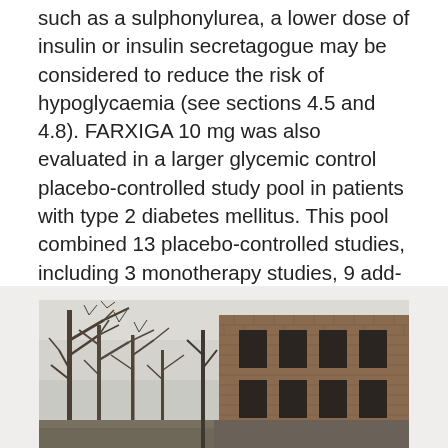such as a sulphonylurea, a lower dose of insulin or insulin secretagogue may be considered to reduce the risk of hypoglycaemia (see sections 4.5 and 4.8). FARXIGA 10 mg was also evaluated in a larger glycemic control placebo-controlled study pool in patients with type 2 diabetes mellitus. This pool combined 13 placebo-controlled studies, including 3 monotherapy studies, 9 add-on to background antidiabetic therapy studies, and an initial combination with metformin study. Side Effects. Frequent urination, dizziness, or lightheadedness may occur.
[Figure (photo): Outdoor photograph showing bare winter trees on the left and a brick building partially visible on the right, in a grey, overcast setting.]